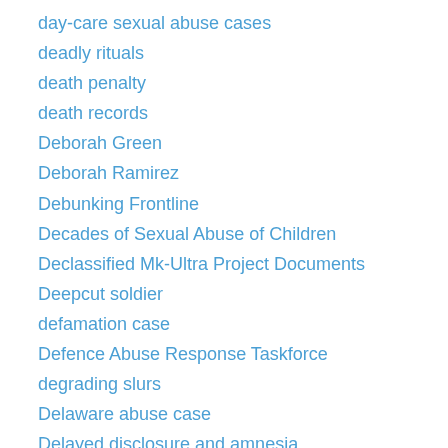day-care sexual abuse cases
deadly rituals
death penalty
death records
Deborah Green
Deborah Ramirez
Debunking Frontline
Decades of Sexual Abuse of Children
Declassified Mk-Ultra Project Documents
Deepcut soldier
defamation case
Defence Abuse Response Taskforce
degrading slurs
Delaware abuse case
Delayed disclosure and amnesia
delayed memories of childhood abuse
Delayed Memory Debate
delayed recall
deliverance
Delta Kappa Epsilon